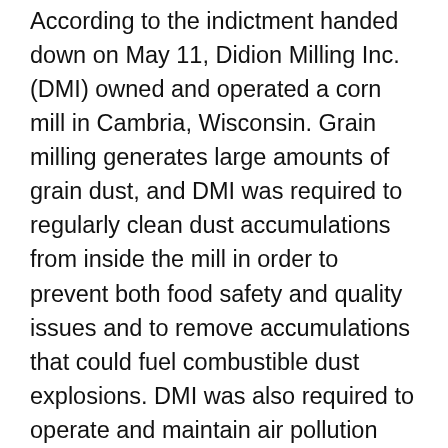According to the indictment handed down on May 11, Didion Milling Inc. (DMI) owned and operated a corn mill in Cambria, Wisconsin. Grain milling generates large amounts of grain dust, and DMI was required to regularly clean dust accumulations from inside the mill in order to prevent both food safety and quality issues and to remove accumulations that could fuel combustible dust explosions. DMI was also required to operate and maintain air pollution control devices called baghouses to reduce emissions of grain dust — a form of particulate matter pollutant — into the environment. The indictment alleges that DMI was further required to document the completion of routine cleanings inside the mill and the routine monitoring of baghouses to prevent dust emissions outside of the mill...